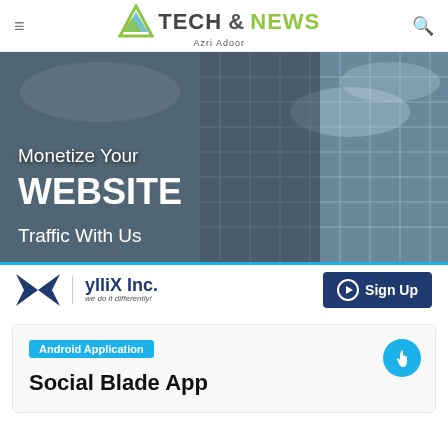≡   TECH & NEWS   Azri Adoor   🔍
[Figure (photo): Advertisement banner with glass building background. Text reads: Monetize Your WEBSITE Traffic With Us. ylliX Inc. logo with Sign Up button.]
Android Application
Social Blade App